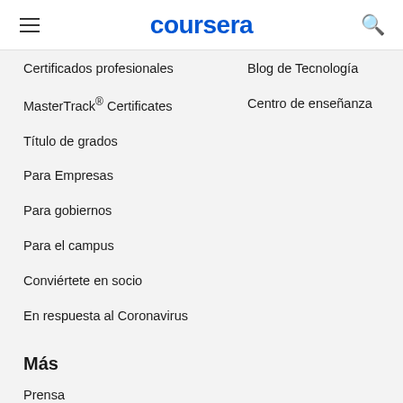coursera
Certificados profesionales
Blog de Tecnología
MasterTrack® Certificates
Centro de enseñanza
Título de grados
Para Empresas
Para gobiernos
Para el campus
Conviértete en socio
En respuesta al Coronavirus
Más
Prensa
Inversores
Términos
Privacidad